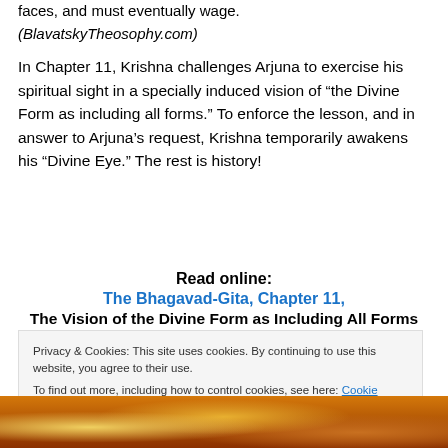faces, and must eventually wage.
(BlavatskyTheosophy.com)
In Chapter 11, Krishna challenges Arjuna to exercise his spiritual sight in a specially induced vision of “the Divine Form as including all forms.” To enforce the lesson, and in answer to Arjuna’s request, Krishna temporarily awakens his “Divine Eye.” The rest is history!
Read online:
The Bhagavad-Gita, Chapter 11,
The Vision of the Divine Form as Including All Forms
Privacy & Cookies: This site uses cookies. By continuing to use this website, you agree to their use.
To find out more, including how to control cookies, see here: Cookie Policy
Close and accept
[Figure (photo): Bottom strip showing a colorful golden/orange illustration, likely a Hindu deity image]